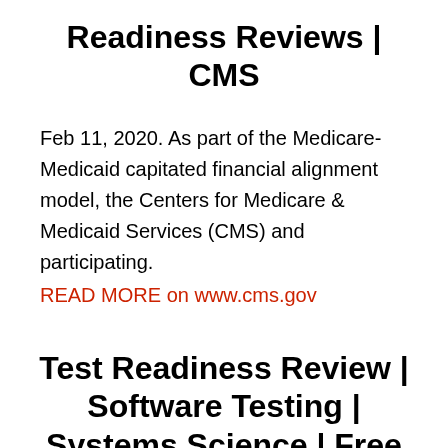Readiness Reviews | CMS
Feb 11, 2020. As part of the Medicare-Medicaid capitated financial alignment model, the Centers for Medicare & Medicaid Services (CMS) and participating.
READ MORE on www.cms.gov
Test Readiness Review | Software Testing | Systems Science | Free